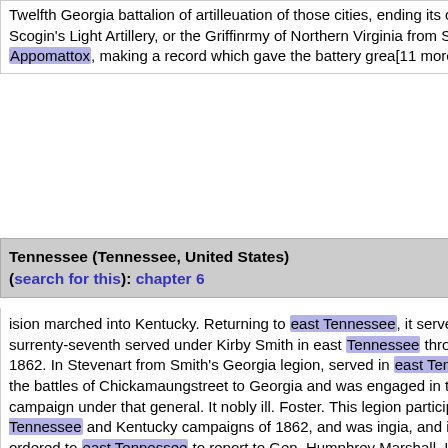Twelfth Georgia battalion of artilleuation of those cities, ending its career at Appomattox. Scogin's Light Artillery, or the Griffinrmy of Northern Virginia from Seven Pines to Appomattox, making a record which gave the battery grea[11 more...]
Tennessee (Tennessee, United States) (search for this): chapter 6
ision marched into Kentucky. Returning to east Tennessee, it served in that department until surrenty-seventh served under Kirby Smith in east Tennessee through the greater part of 1862. In Stevenart from Smith's Georgia legion, served in east Tennessee; was afterward in the battles of Chickamaungstreet to Georgia and was engaged in the East Tennessee campaign under that general. It nobly ill. Foster. This legion participated in the East Tennessee and Kentucky campaigns of 1862, and was ingia, and in December, 1862, was ordered to east Tennessee to report to Gen. Humphrey Marshall. It sson Artillery, Capt. G. A. Dure, served in east Tennessee and then with Bragg in middle Tennessee, bigns of 1862, and then in the campaign in middle Tennessee. When the infantry companies